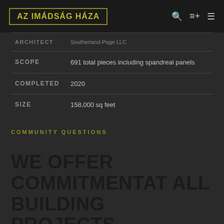AZ IMÁDSÁG HÁZA
| ARCHITECT | Southerland-Page LLC |
| SCOPE | 691 total pieces including spandreal panels |
| COMPLETED | 2020 |
| SIZE | 158,000 sq feet |
COMMUNITY QUESTIONS
WE OFFER COMMITMENTAT ALL BUILDING PROJECTS